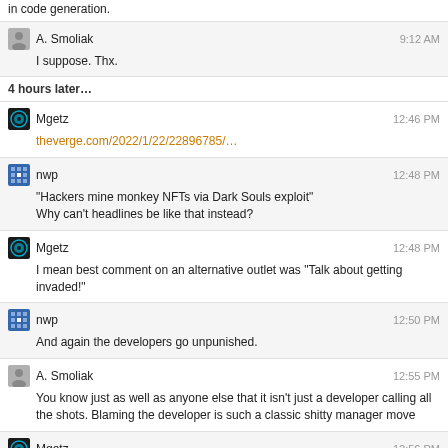in code generation.
A. Smoliak   9:12 AM
I suppose. Thx.
4 hours later...
Mgetz   12:46 PM
theverge.com/2022/1/22/22896785/...
nwp   12:48 PM
"Hackers mine monkey NFTs via Dark Souls exploit"
Why can't headlines be like that instead?
Mgetz   12:48 PM
I mean best comment on an alternative outlet was "Talk about getting invaded!"
nwp   12:50 PM
And again the developers go unpunished.
A. Smoliak   12:55 PM
You know just as well as anyone else that it isn't just a developer calling all the shots. Blaming the developer is such a classic shitty manager move
Mgetz   12:56 PM
well it was also an english speaking developer reporting it to a japanese speaking company
A. Smoliak   12:56 PM